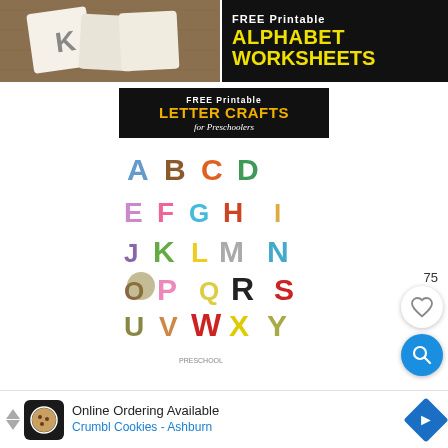[Figure (photo): Top left: photo of letter K flashcard/book on wooden table]
[Figure (illustration): Top right: black background banner reading FREE Printable ALPHABET WORKSHEETS in white and yellow text]
[Figure (illustration): Center: FREE Printable LETTER CRAFTS for Preschoolers banner with colorful alphabet animal letter crafts image]
75
[Figure (infographic): Heart/like button circle]
[Figure (infographic): Search/magnifier button circle in blue]
[Figure (screenshot): Ad banner: Online Ordering Available - Crumbl Cookies - Ashburn with cookie logo and navigation arrow icon]